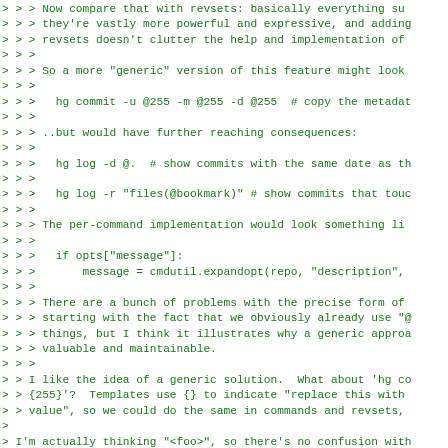> > > Now compare that with revsets: basically everything su...
> > > they're vastly more powerful and expressive, and adding
> > > revsets doesn't clutter the help and implementation of
> > >
> > > So a more "generic" version of this feature might look
> > >
> > >   hg commit -u @255 -m @255 -d @255  # copy the metadat
> > >
> > > ..but would have further reaching consequences:
> > >
> > >   hg log -d @.  # show commits with the same date as th
> > >
> > >   hg log -r "files(@bookmark)" # show commits that touc
> > >
> > > The per-command implementation would look something li
> > >
> > >   if opts["message"]:
> > >       message = cmdutil.expandopt(repo, "description",
> > >
> > > There are a bunch of problems with the precise form of
> > > starting with the fact that we obviously already use "@
> > > things, but I think it illustrates why a generic approa
> > > valuable and maintainable.
> > >
> > I like the idea of a generic solution.  What about 'hg co
> > {255}'?  Templates use {} to indicate "replace this with
> > value", so we could do the same in commands and revsets,
>
> I'm actually thinking "<foo>", so there's no confusion with

This resembles "hg email --flag '{branch|upper}'"  Can't we c
compatible with the template syntax? Perhaps we can extend it
template in future.